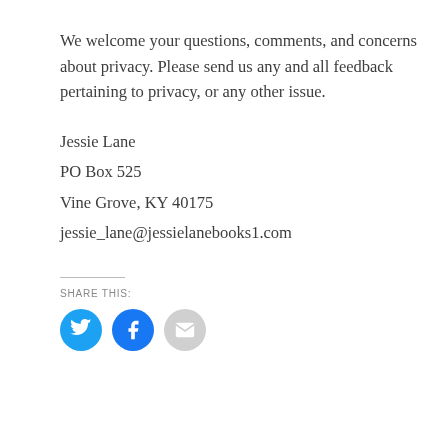We welcome your questions, comments, and concerns about privacy. Please send us any and all feedback pertaining to privacy, or any other issue.
Jessie Lane
PO Box 525
Vine Grove, KY 40175
jessie_lane@jessielanebooks1.com
SHARE THIS:
[Figure (other): Three circular share buttons: Twitter (blue with bird icon), Facebook (blue with f icon), Email (gray with envelope icon)]